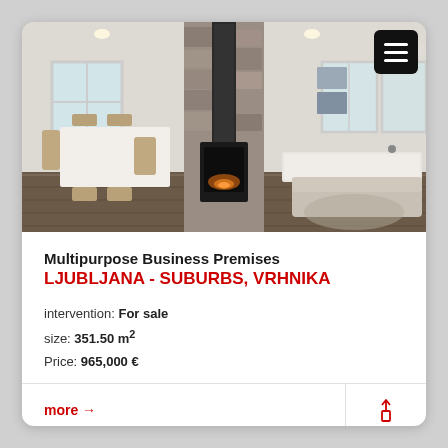[Figure (photo): Interior photo of a modern open-plan living and dining room with stone fireplace/chimney, wooden floor, white dining table with chairs, and sofa]
Multipurpose Business Premises
LJUBLJANA - SUBURBS, VRHNIKA
intervention: For sale
size: 351.50 m²
Price: 965,000 €
more →